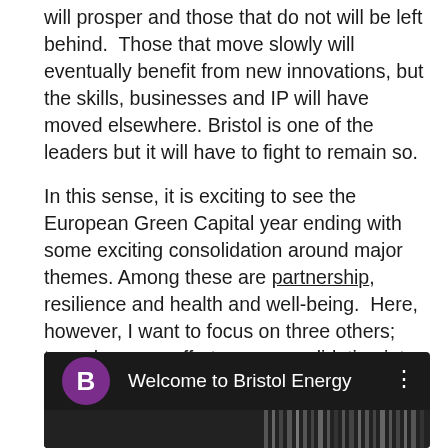will prosper and those that do not will be left behind.  Those that move slowly will eventually benefit from new innovations, but the skills, businesses and IP will have moved elsewhere. Bristol is one of the leaders but it will have to fight to remain so.

In this sense, it is exciting to see the European Green Capital year ending with some exciting consolidation around major themes. Among these are partnership, resilience and health and well-being.  Here, however, I want to focus on three others; two where our efforts are consolidating into deeply impressive and globally distinctive initiatives and a third where we need to do better.
[Figure (screenshot): Video thumbnail showing a dark/black background with a purple circle avatar with letter B, title text 'Welcome to Bristol Energy', and a three-dot menu icon. Below is a dark strip suggesting a video preview image.]